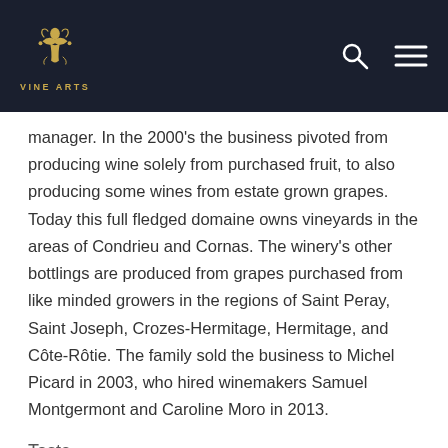VINE ARTS
manager. In the 2000's the business pivoted from producing wine solely from purchased fruit, to also producing some wines from estate grown grapes. Today this full fledged domaine owns vineyards in the areas of Condrieu and Cornas. The winery's other bottlings are produced from grapes purchased from like minded growers in the regions of Saint Peray, Saint Joseph, Crozes-Hermitage, Hermitage, and Côte-Rôtie. The family sold the business to Michel Picard in 2003, who hired winemakers Samuel Montgermont and Caroline Moro in 2013.
Taste
The chameleon of French wine, Côtes du Rhône rouge